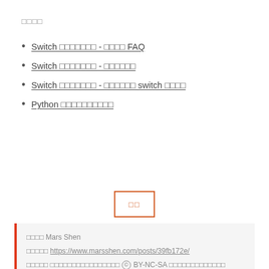□□□□
Switch □□□□□□□ - □□□□ FAQ
Switch □□□□□□□ - □□□□□□
Switch □□□□□□□ - □□□□□□ switch □□□□
Python □□□□□□□□□□
[Figure (other): Orange bordered button with Chinese characters]
□□□□ Mars Shen
□□□□□ https://www.marsshen.com/posts/39fb172e/
□□□□□ □□□□□□□□□□□□□□□□ © BY-NC-SA □□□□□□□□□□□□□